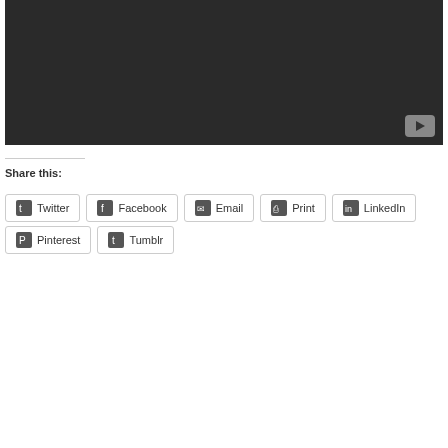[Figure (screenshot): Dark video player area with YouTube play button in bottom right corner]
Share this:
Twitter  Facebook  Email  Print  LinkedIn  Pinterest  Tumblr
Privacy & Cookies: This site uses cookies. By continuing to use this website, you agree to their use.
To find out more, including how to control cookies, see here: Cookie Policy
Close and accept